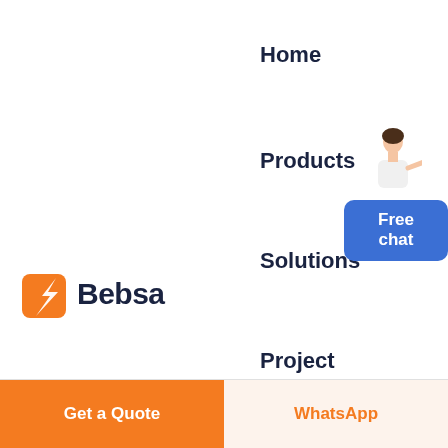Home
Products
Solutions
[Figure (logo): Bebsa logo with orange rocket/lightning bolt icon and dark navy 'Bebsa' text]
Project
[Figure (illustration): Customer service person with 'Free chat' blue button widget in bottom right corner]
Get a Quote
WhatsApp